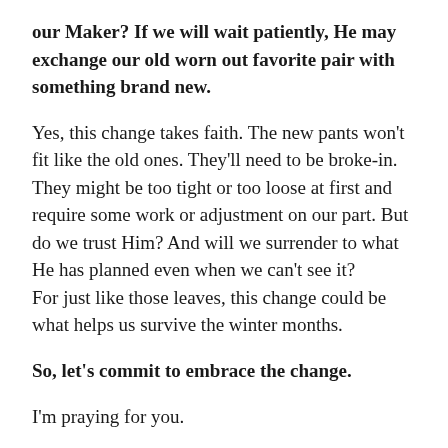our Maker? If we will wait patiently, He may exchange our old worn out favorite pair with something brand new.
Yes, this change takes faith. The new pants won't fit like the old ones. They'll need to be broke-in. They might be too tight or too loose at first and require some work or adjustment on our part. But do we trust Him? And will we surrender to what He has planned even when we can't see it?
For just like those leaves, this change could be what helps us survive the winter months.
So, let's commit to embrace the change.
I'm praying for you.
I'd love to know how you embrace change. Is it